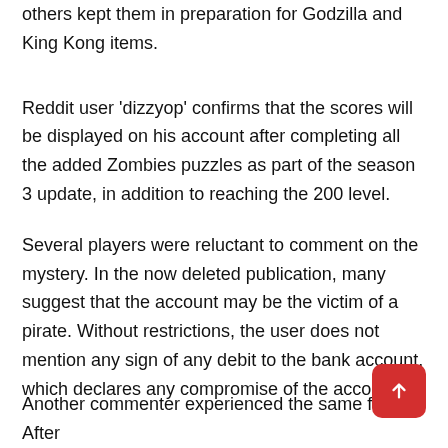others kept them in preparation for Godzilla and King Kong items.
Reddit user 'dizzyop' confirms that the scores will be displayed on his account after completing all the added Zombies puzzles as part of the season 3 update, in addition to reaching the 200 level.
Several players were reluctant to comment on the mystery. In the now deleted publication, many suggest that the account may be the victim of a pirate. Without restrictions, the user does not mention any sign of any debit to the bank account, which declares any compromise of the account.
Another commenter experienced the same failure. After